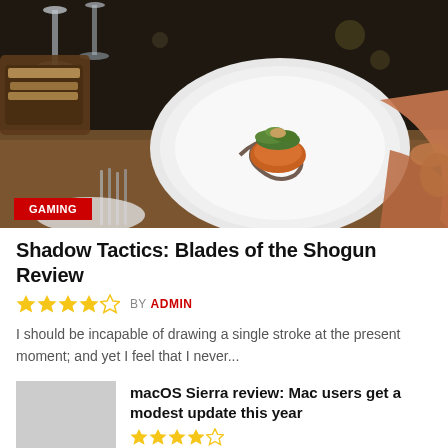[Figure (photo): Restaurant scene with a white plate of gourmet food being held, wine glasses in background, cutlery on table. Red GAMING badge overlay at bottom left.]
Shadow Tactics: Blades of the Shogun Review
★★★★☆  BY ADMIN
I should be incapable of drawing a single stroke at the present moment; and yet I feel that I never...
[Figure (photo): Small thumbnail image (gray placeholder) for related article]
macOS Sierra review: Mac users get a modest update this year
★★★★☆